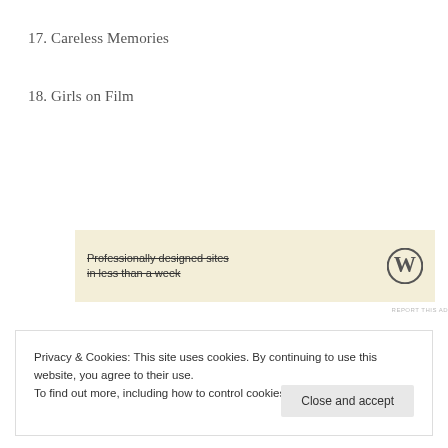17. Careless Memories
18. Girls on Film
[Figure (other): Advertisement banner with text 'Professionally designed sites in less than a week' and WordPress logo on a beige background]
REPORT THIS AD
Privacy & Cookies: This site uses cookies. By continuing to use this website, you agree to their use.
To find out more, including how to control cookies, see here: Cookie Policy
Close and accept